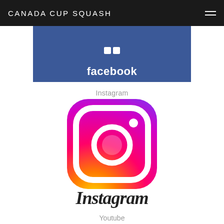CANADA CUP SQUASH
[Figure (logo): Facebook logo banner with blue background and white Facebook wordmark]
Instagram
[Figure (logo): Instagram app icon — rounded square with gradient background (purple to pink to orange) containing a white camera outline with circular lens and small dot]
Instagram (wordmark in script font)
Youtube